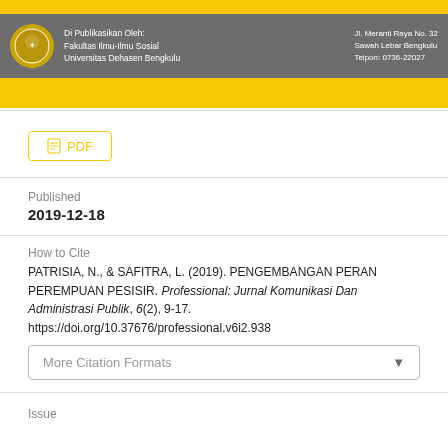[Figure (illustration): Journal header banner with gray background, yellow stripes top and bottom, Universitas Dehasen Bengkulu logo (circular badge), text 'Di Publikasikan Oleh: Fakultas Ilmu-Ilmu Sosial Universitas Dehasen Bengkulu' and address 'Jl. Meranti Raya No. 32 Sawah Lebar Bengkulu Telpon: 0736-22027']
PDF
Published
2019-12-18
How to Cite
PATRISIA, N., & SAFITRA, L. (2019). PENGEMBANGAN PERAN PEREMPUAN PESISIR. Professional: Jurnal Komunikasi Dan Administrasi Publik, 6(2), 9-17. https://doi.org/10.37676/professional.v6i2.938
More Citation Formats
Issue